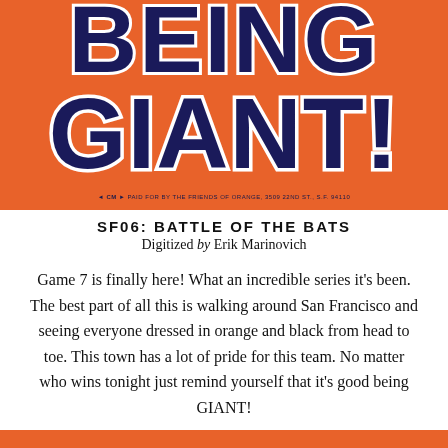[Figure (illustration): Orange banner with large dark navy bold retro text reading 'BEING GIANT!' with white outline, and small text at bottom: 'PAID FOR BY THE FRIENDS OF ORANGE, 3509 22ND ST., S.F. 94110']
SF06: BATTLE OF THE BATS
Digitized by Erik Marinovich
Game 7 is finally here! What an incredible series it's been. The best part of all this is walking around San Francisco and seeing everyone dressed in orange and black from head to toe. This town has a lot of pride for this team. No matter who wins tonight just remind yourself that it's good being GIANT!